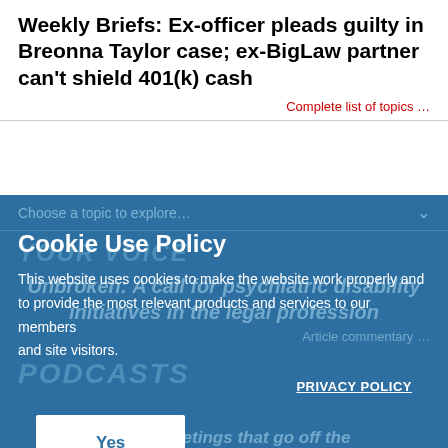Weekly Briefs: Ex-officer pleads guilty in Breonna Taylor case; ex-BigLaw partner can’t shield 401(k) cash
Complete list of topics …
Choose a topic to explore…
YOUR VOICE
Unbroken: A call for psychiatric disability initiatives in the legal profession
Article commentary…
PODCASTS
Sick of meetings that go off the…
Cookie Use Policy
This website uses cookies to make the website work properly and to provide the most relevant products and services to our members and site visitors.
PRIVACY POLICY
Yes